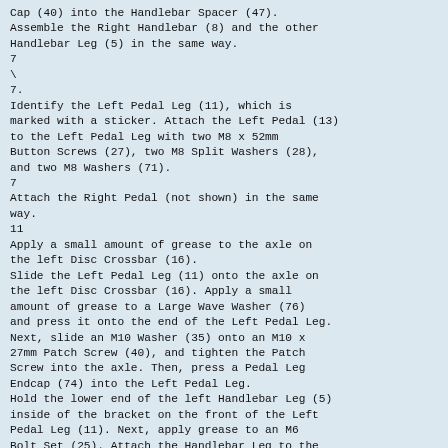Cap (40) into the Handlebar Spacer (47). Assemble the Right Handlebar (8) and the other Handlebar Leg (5) in the same way.
7
\
7.
Identify the Left Pedal Leg (11), which is marked with a sticker. Attach the Left Pedal (13) to the Left Pedal Leg with two M8 x 52mm Button Screws (27), two M8 Split Washers (28), and two M8 Washers (71).
7
Attach the Right Pedal (not shown) in the same way.
11
Apply a small amount of grease to the axle on the left Disc Crossbar (16). Slide the Left Pedal Leg (11) onto the axle on the left Disc Crossbar (16). Apply a small amount of grease to a Large Wave Washer (76) and press it onto the end of the Left Pedal Leg. Next, slide an M10 Washer (35) onto an M10 x 27mm Patch Screw (40), and tighten the Patch Screw into the axle. Then, press a Pedal Leg Endcap (74) into the Left Pedal Leg. Hold the lower end of the left Handlebar Leg (5) inside of the bracket on the front of the Left Pedal Leg (11). Next, apply grease to an M6 Bolt Set (25). Attach the Handlebar Leg to the Left Pedal Leg with the Bolt Set. Do not overtighten the Bolt Set; the Handlebar Leg must pivot freely.
Attach the Right Pedal Leg (not shown) to the